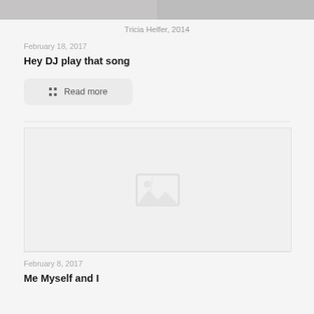[Figure (photo): Top portion of a photo, partially visible at crop]
Tricia Helfer, 2014
February 18, 2017
Hey DJ play that song
Read more
[Figure (photo): Placeholder image icon indicating a missing or loading image]
February 8, 2017
Me Myself and I